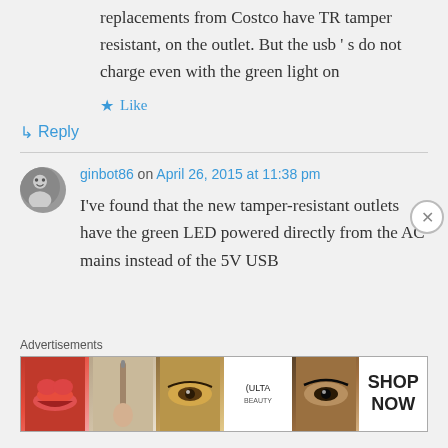replacements from Costco have TR tamper resistant, on the outlet. But the usb ' s do not charge even with the green light on
Like
Reply
ginbot86 on April 26, 2015 at 11:38 pm
I've found that the new tamper-resistant outlets have the green LED powered directly from the AC mains instead of the 5V USB
Advertisements
[Figure (photo): Ulta beauty advertisement banner with makeup images and SHOP NOW call to action]